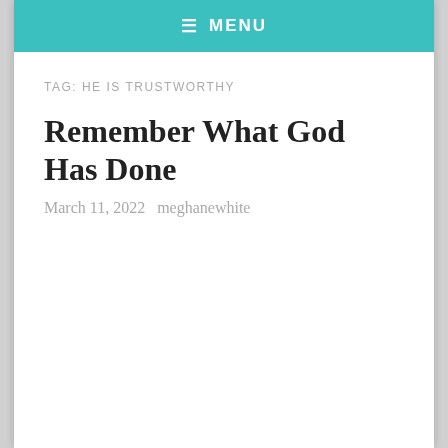≡ MENU
TAG: HE IS TRUSTWORTHY
Remember What God Has Done
March 11, 2022   meghanewhite